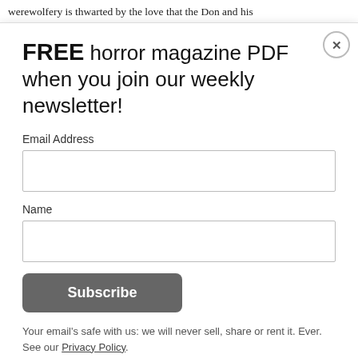werewolfery is thwarted by the love that the Don and his servant have for the boy, and so he is spared the senseless
FREE horror magazine PDF when you join our weekly newsletter!
Email Address
Name
Subscribe
Your email's safe with us: we will never sell, share or rent it. Ever. See our Privacy Policy.
Leon leaves the village and gets a job in a winery, but then after a night out of drinking and consorting with some prostitutes, the full moon rises in the sky, the beast in Leon is released, and he goes on a rampage of terror and